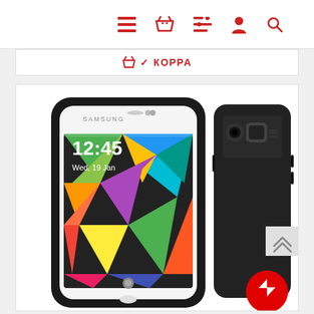Navigation bar with icons: menu, basket, list, user, search
🛒 ✓ KORPA
[Figure (photo): Product photo showing a Samsung smartphone with a colorful geometric wallpaper displaying time 12:45 Wed 19 Jan, inside a black silicone phone case, alongside a view of the back of the black case showing camera cutout.]